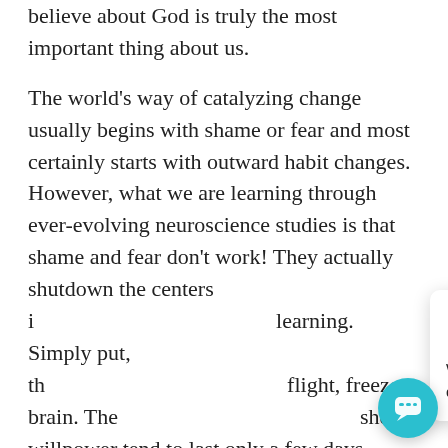believe about God is truly the most important thing about us.
The world's way of catalyzing change usually begins with shame or fear and most certainly starts with outward habit changes. However, what we are learning through ever-evolving neuroscience studies is that shame and fear don't work! They actually shutdown the centers i... learning. Simply put, th... flight, freeze brain. The... sheer willpower tend to last only a few days, weeks or months at best because they are based on an o... conformity.
[Figure (other): Chat widget popup with a shield/cross logo, close button (×), and message 'Welcome! Let me know if you have any questions.' along with a teal circular chat bubble button in the bottom right corner.]